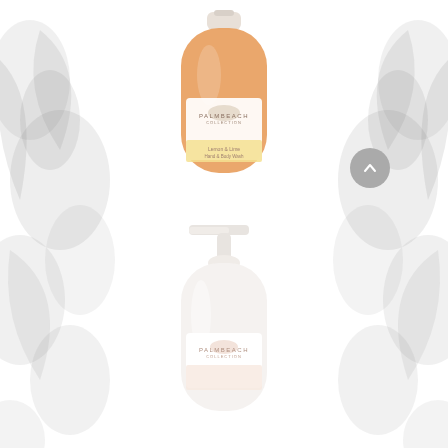[Figure (photo): Orange/amber glass bottle with pump dispenser showing Palm Beach Collection label - appears to be a hand and body wash product with yellow accent label]
[Figure (photo): White opaque pump dispenser bottle with Palm Beach Collection label - appears to be a lotion or body wash product]
[Figure (illustration): Decorative background showing faded/blurred dark floral or botanical elements on left and right sides of the page with a grey circular scroll-to-top button on the right]